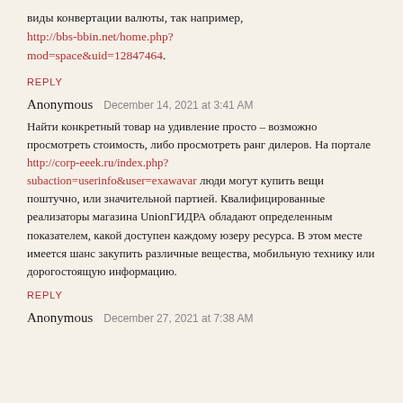виды конвертации валюты, так например, http://bbs-bbin.net/home.php?mod=space&uid=12847464.
REPLY
Anonymous  December 14, 2021 at 3:41 AM
Найти конкретный товар на удивление просто – возможно просмотреть стоимость, либо просмотреть ранг дилеров. На портале http://corp-eeek.ru/index.php?subaction=userinfo&user=exawavar люди могут купить вещи поштучно, или значительной партией. Квалифицированные реализаторы магазина UnionГИДРА обладают определенным показателем, какой доступен каждому юзеру ресурса. В этом месте имеется шанс закупить различные вещества, мобильную технику или дорогостоящую информацию.
REPLY
Anonymous  December 27, 2021 at 7:38 AM